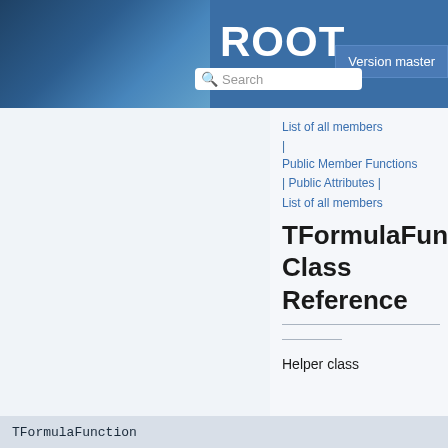ROOT Reference Guide — Version master
List of all members
Public Member Functions
| Public Attributes |
List of all members
TFormulaFunction Class Reference
Helper class
TFormulaFunction